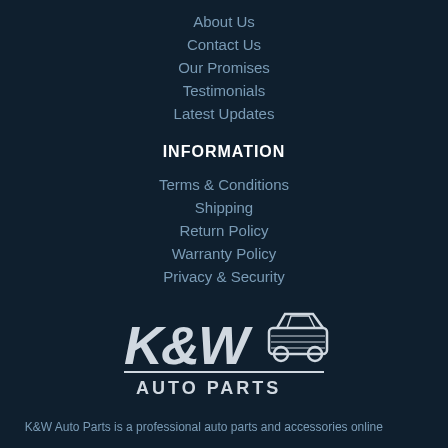About Us
Contact Us
Our Promises
Testimonials
Latest Updates
INFORMATION
Terms & Conditions
Shipping
Return Policy
Warranty Policy
Privacy & Security
[Figure (logo): K&W Auto Parts logo with stylized text and car graphic]
K&W Auto Parts is a professional auto parts and accessories online